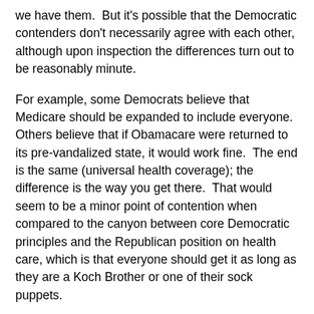we have them.  But it's possible that the Democratic contenders don't necessarily agree with each other, although upon inspection the differences turn out to be reasonably minute.
For example, some Democrats believe that Medicare should be expanded to include everyone.  Others believe that if Obamacare were returned to its pre-vandalized state, it would work fine.  The end is the same (universal health coverage); the difference is the way you get there.  That would seem to be a minor point of contention when compared to the canyon between core Democratic principles and the Republican position on health care, which is that everyone should get it as long as they are a Koch Brother or one of their sock puppets.
2.  Dems Have No Message.  Did you know that the United States is a very large country and that in 2018 no candidate is running nationwide?  It's true!  They are running either in (often gerrymandered) House districts or in one state.  And in different states and districts voters, even Democratic ones, have differing views.  As a result, Democratic candidates are